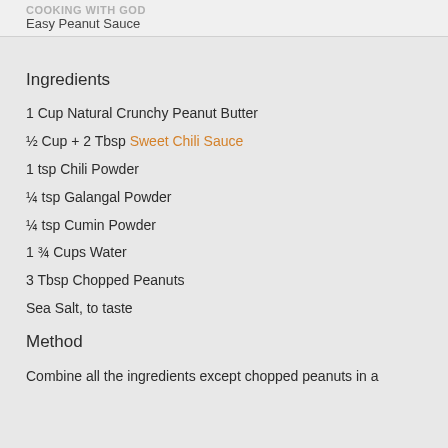Easy Peanut Sauce
Ingredients
1 Cup Natural Crunchy Peanut Butter
½ Cup + 2 Tbsp Sweet Chili Sauce
1 tsp Chili Powder
¼ tsp Galangal Powder
¼ tsp Cumin Powder
1 ¾ Cups Water
3 Tbsp Chopped Peanuts
Sea Salt, to taste
Method
Combine all the ingredients except chopped peanuts in a